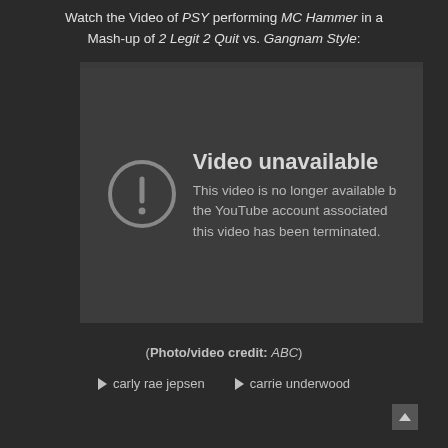Watch the Video of PSY performing MC Hammer in a Mash-up of 2 Legit 2 Quit vs. Gangnam Style:
[Figure (screenshot): YouTube video embed showing 'Video unavailable' error message. The error states: 'This video is no longer available because the YouTube account associated with this video has been terminated.']
(Photo/video credit: ABC)
carly rae jepsen
carrie underwood